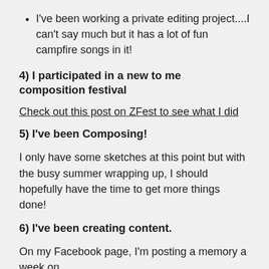I've been working a private editing project....I can't say much but it has a lot of fun campfire songs in it!
4) I participated in a new to me composition festival
Check out this post on ZFest to see what I did
5) I've been Composing!
I only have some sketches at this point but with the busy summer wrapping up, I should hopefully have the time to get more things done!
6) I've been creating content.
On my Facebook page, I'm posting a memory a week on